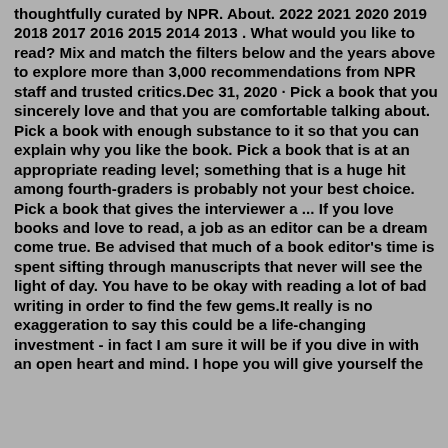thoughtfully curated by NPR. About. 2022 2021 2020 2019 2018 2017 2016 2015 2014 2013 . What would you like to read? Mix and match the filters below and the years above to explore more than 3,000 recommendations from NPR staff and trusted critics.Dec 31, 2020 · Pick a book that you sincerely love and that you are comfortable talking about. Pick a book with enough substance to it so that you can explain why you like the book. Pick a book that is at an appropriate reading level; something that is a huge hit among fourth-graders is probably not your best choice. Pick a book that gives the interviewer a ... If you love books and love to read, a job as an editor can be a dream come true. Be advised that much of a book editor's time is spent sifting through manuscripts that never will see the light of day. You have to be okay with reading a lot of bad writing in order to find the few gems.It really is no exaggeration to say this could be a life-changing investment - in fact I am sure it will be if you dive in with an open heart and mind. I hope you will give yourself the